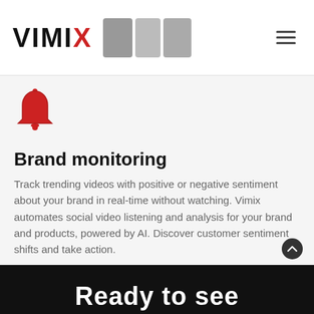VIMIX
[Figure (illustration): Red bell notification icon]
Brand monitoring
Track trending videos with positive or negative sentiment about your brand in real-time without watching. Vimix automates social video listening and analysis for your brand and products, powered by AI. Discover customer sentiment shifts and take action.
Ready to see